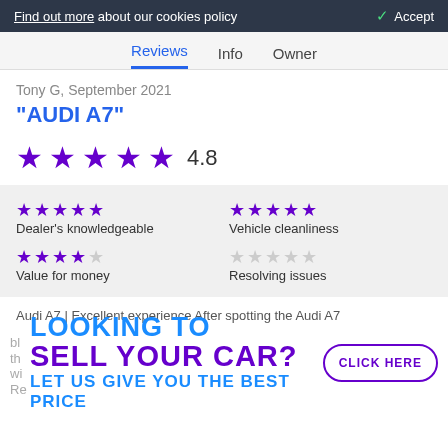Find out more about our cookies policy   ✓ Accept
Reviews  Info  Owner
Tony G, September 2021
"AUDI A7"
[Figure (other): 5 purple stars with rating 4.8]
[Figure (other): Sub-ratings grid: Dealer's knowledgeable 5 stars, Vehicle cleanliness 5 stars, Value for money 4 stars, Resolving issues 0 stars]
Audi A7 | Excellent experience After spotting the Audi A7
[Figure (infographic): Ad banner: LOOKING TO SELL YOUR CAR? LET US GIVE YOU THE BEST PRICE with CLICK HERE button]